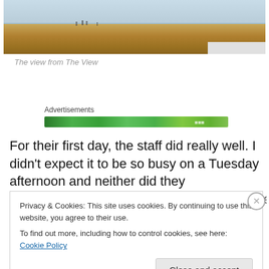[Figure (photo): Beach scene with sandy shore, ocean waves, and blue sky. A few people visible near the waterline.]
The view from The View
Advertisements
[Figure (infographic): Green advertisement banner bar]
For their first day, the staff did really well. I didn't expect it to be so busy on a Tuesday afternoon and neither did they from the sounds of it! Our food was lovely, reasonably
Privacy & Cookies: This site uses cookies. By continuing to use this website, you agree to their use.
To find out more, including how to control cookies, see here: Cookie Policy
Close and accept